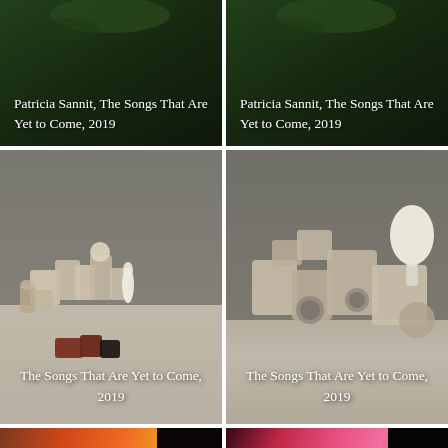[Figure (photo): Dark green/black background artwork image with white text overlay reading 'Patricia Sannit, The Songs That Are Yet to Come, 2019' – left column top]
[Figure (photo): Dark green/black background artwork image with white text overlay reading 'Patricia Sannit, The Songs That Are Yet to Come, 2019' – right column top]
[Figure (photo): Gallery installation photo showing ceramic/stone sculptures arranged on a concrete floor against a grey wall, with white text overlay reading 'The Songs That Are Yet to Come, 2019' – left column middle]
[Figure (photo): Close-up gallery installation photo showing ceramic/stone sculptures against a grey wall, with white text overlay reading 'The Songs That Are Yet to Come, 2019' – right column middle]
[Figure (photo): Abstract colorful light projection artwork showing warm red, orange, yellow tones with dark corner – left column bottom]
[Figure (photo): Abstract colorful light projection artwork showing pink, magenta, purple tones with dark corner – right column bottom]